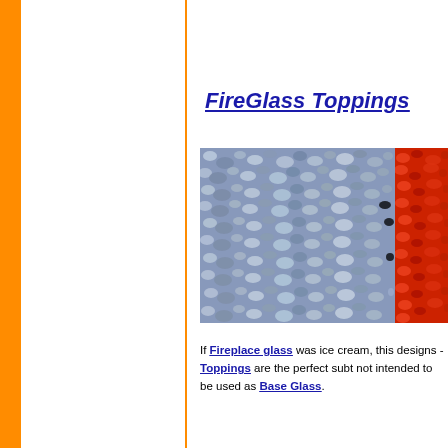FireGlass Toppings
[Figure (photo): Two photos side by side: left shows blue-gray crushed glass pieces (fire glass topping), right shows red crushed glass pieces partially visible.]
If Fireplace glass was ice cream, this designs - Toppings are the perfect subt not intended to be used as Base Glass.